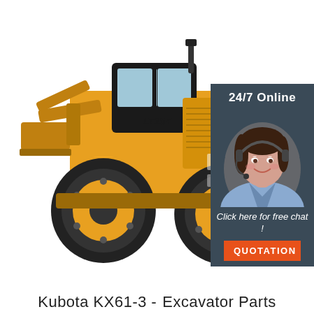[Figure (photo): Yellow LT18T wheel loader / excavator machine on white background]
[Figure (infographic): 24/7 Online chat widget with a woman wearing a headset, 'Click here for free chat!' text, and an orange QUOTATION button on dark blue-grey background]
Kubota KX61-3 - Excavator Parts